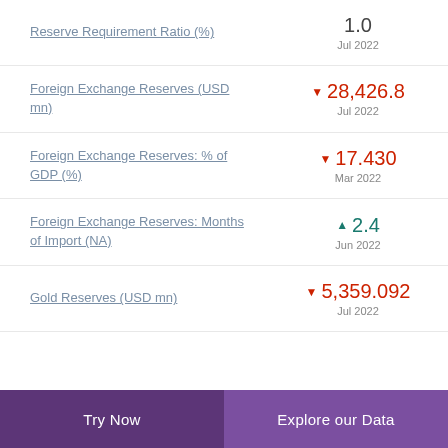Reserve Requirement Ratio (%) — 1.0 Jul 2022
Foreign Exchange Reserves (USD mn) — ▼ 28,426.8 Jul 2022
Foreign Exchange Reserves: % of GDP (%) — ▼ 17.430 Mar 2022
Foreign Exchange Reserves: Months of Import (NA) — ▲ 2.4 Jun 2022
Gold Reserves (USD mn) — ▼ 5,359.092 Jul 2022
Try Now | Explore our Data